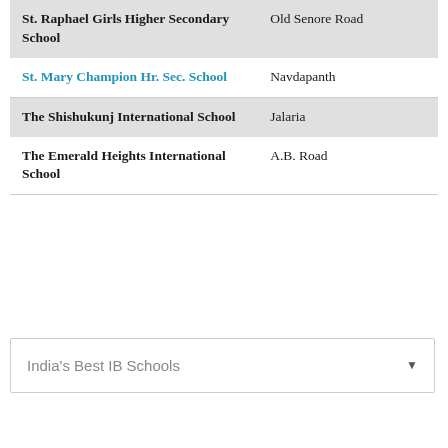| School Name | Location |
| --- | --- |
| St. Raphael Girls Higher Secondary School | Old Senore Road |
| St. Mary Champion Hr. Sec. School | Navdapanth |
| The Shishukunj International School | Jalaria |
| The Emerald Heights International School | A.B. Road |
India's Best IB Schools